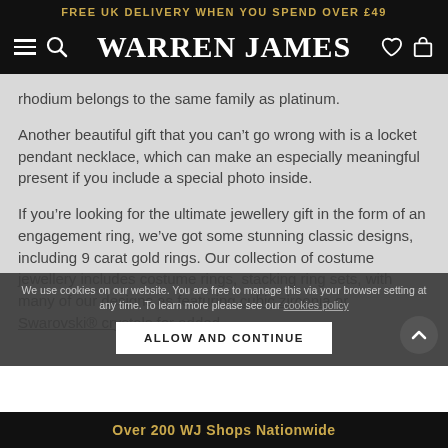FREE UK DELIVERY WHEN YOU SPEND OVER £49
WARREN JAMES
rhodium belongs to the same family as platinum.
Another beautiful gift that you can't go wrong with is a locket pendant necklace, which can make an especially meaningful present if you include a special photo inside.
If you're looking for the ultimate jewellery gift in the form of an engagement ring, we've got some stunning classic designs, including 9 carat gold rings. Our collection of costume jewellery includes costume rings, stacking ring sets, with many of our designs as featuring cubic zirconia or Swarovski® crystals for added
We use cookies on our website. You are free to manage this via your browser setting at any time. To learn more please see our cookies policy
ALLOW AND CONTINUE
Over 200 WJ Shops Nationwide